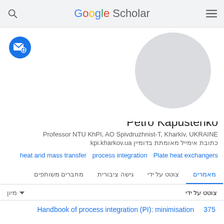Google Scholar
[Figure (logo): Blue circular email subscribe button with envelope and plus icon]
[Figure (photo): Grey circular avatar placeholder for Petro Kapustenko]
Petro Kapustenko
Professor NTU KhPI, AO Spivdruzhnist-T, Kharkiv, UKRAINE
כתובת אימייל מאומתת בדומיין kpi.kharkov.ua
heat and mass transfer
process integration
Plate heat exchangers
מאמרים | צוטט על ידי | גישה ציבורית | מחברים משותפים
צוטט על ידי
מיון
375
Handbook of process integration (PI): minimisation